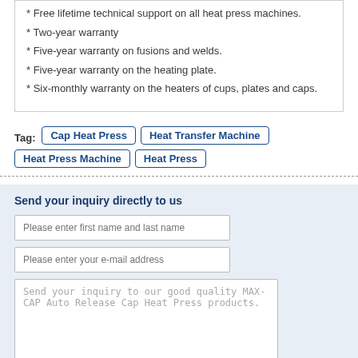* Free lifetime technical support on all heat press machines.
* Two-year warranty
* Five-year warranty on fusions and welds.
* Five-year warranty on the heating plate.
* Six-monthly warranty on the heaters of cups, plates and caps.
Tag: Cap Heat Press  Heat Transfer Machine  Heat Press Machine  Heat Press
Send your inquiry directly to us
Please enter first name and last name
Please enter your e-mail address
Send your inquiry to our good quality MAX-CAP Auto Release Cap Heat Press products.